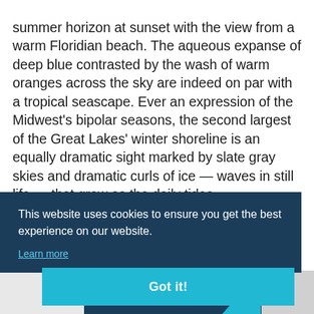You'd be forgiven for confusing Lake Michigan's summer horizon at sunset with the view from a warm Floridian beach. The aqueous expanse of deep blue contrasted by the wash of warm oranges across the sky are indeed on par with a tropical seascape. Ever an expression of the Midwest's bipolar seasons, the second largest of the Great Lakes' winter shoreline is an equally dramatic sight marked by slate gray skies and dramatic curls of ice — waves in still life — that grow as the daily tides … small … d … hat … mony
[Figure (screenshot): Cookie consent overlay banner with dark navy background containing text 'This website uses cookies to ensure you get the best experience on our website.' and a 'Learn more' link, plus a teal 'Got it!' button below]
[Figure (screenshot): Bottom banner strip in dark navy blue with white bold text 'BUILDING OR' and a diagonal graphic element on the right side with light gray background]